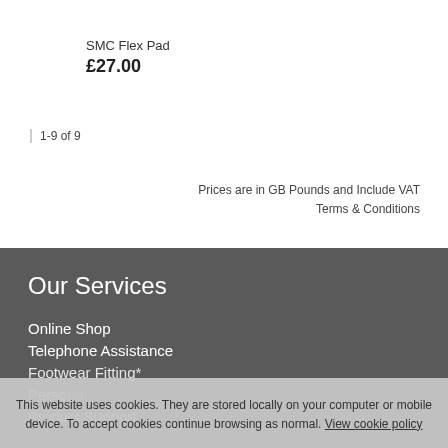SMC Flex Pad
£27.00
1-9 of 9
Prices are in GB Pounds and Include VAT
Terms & Conditions
Our Services
Online Shop
Telephone Assistance
Footwear Fitting*
Personal
Product Support
This website uses cookies. They are stored locally on your computer or mobile device. To accept cookies continue browsing as normal. View cookie policy